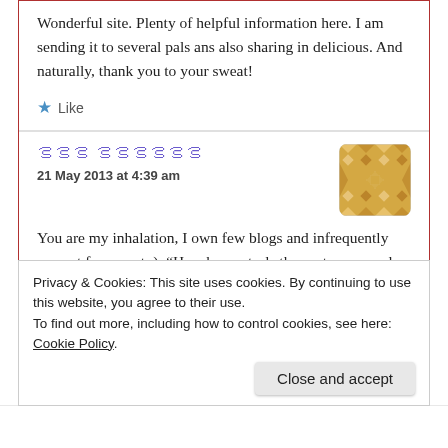Wonderful site. Plenty of helpful information here. I am sending it to several pals ans also sharing in delicious. And naturally, thank you to your sweat!
★ Like
ꢐꢐꢐꢐꢐꢐ ꢐꢐꢐ
21 May 2013 at 4:39 am
[Figure (illustration): Avatar thumbnail with gold geometric pattern on white background]
You are my inhalation, I own few blogs and infrequently run out from post :). "He who controls the past commands the future. He who commands the future conquers the past." by George Orwell.
Privacy & Cookies: This site uses cookies. By continuing to use this website, you agree to their use. To find out more, including how to control cookies, see here: Cookie Policy
Close and accept